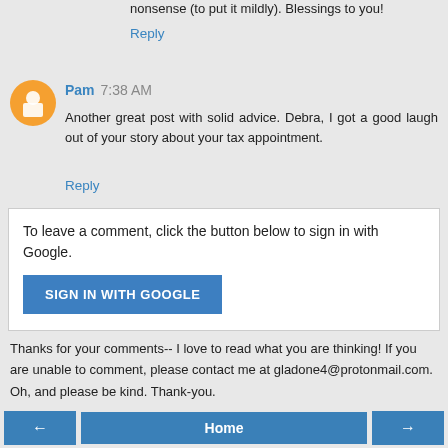nonsense (to put it mildly). Blessings to you!
Reply
Pam  7:38 AM
Another great post with solid advice. Debra, I got a good laugh out of your story about your tax appointment.
Reply
To leave a comment, click the button below to sign in with Google.
SIGN IN WITH GOOGLE
Thanks for your comments-- I love to read what you are thinking! If you are unable to comment, please contact me at gladone4@protonmail.com. Oh, and please be kind. Thank-you.
← Home →